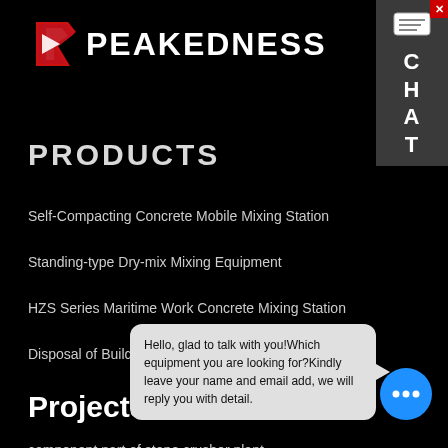[Figure (logo): Peakedness logo with red arrow-P icon and white bold text PEAKEDNESS]
[Figure (other): Chat panel widget on top-right with message icon and letters C H A T, close X button]
PRODUCTS
Self-Compacting Concrete Mobile Mixing Station
Standing-type Dry-mix Mixing Equipment
HZS Series Maritime Work Concrete Mixing Station
Disposal of Building Scraps
Projects
component part of stone crusher plant
daswell ne
Hello, glad to talk with you!Which equipment you are looking for?Kindly leave your name and email add, we will reply you with detail.
[Figure (other): Blue circular chatbot button with three dots]